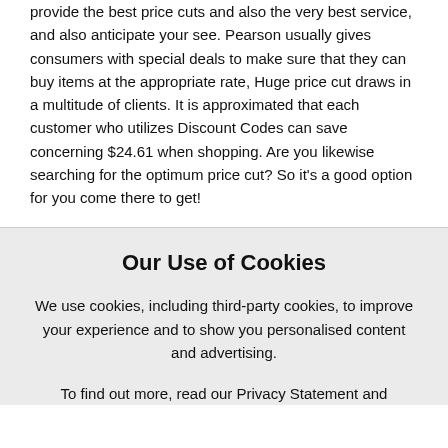provide the best price cuts and also the very best service, and also anticipate your see. Pearson usually gives consumers with special deals to make sure that they can buy items at the appropriate rate, Huge price cut draws in a multitude of clients. It is approximated that each customer who utilizes Discount Codes can save concerning $24.61 when shopping. Are you likewise searching for the optimum price cut? So it's a good option for you come there to get!
Our Use of Cookies
We use cookies, including third-party cookies, to improve your experience and to show you personalised content and advertising.
To find out more, read our Privacy Statement and